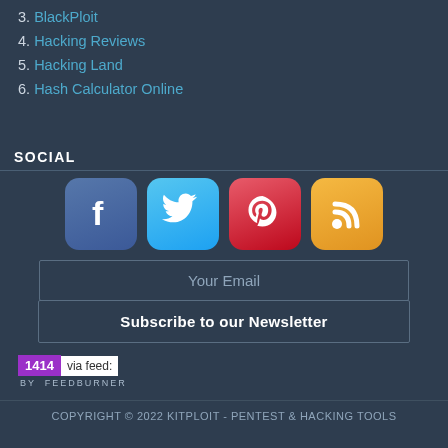3. BlackPloit
4. Hacking Reviews
5. Hacking Land
6. Hash Calculator Online
SOCIAL
[Figure (infographic): Four social media icon buttons: Facebook (blue), Twitter (light blue), Pinterest (red), RSS feed (orange/gold)]
Your Email
Subscribe to our Newsletter
[Figure (infographic): FeedBurner badge showing 1414 subscribers via feed, BY FEEDBURNER label below]
COPYRIGHT © 2022 KITPLOIT - PENTEST & HACKING TOOLS